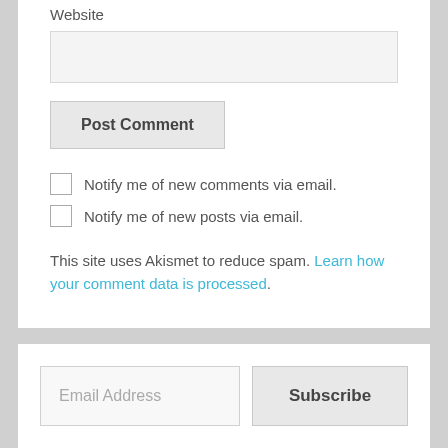Website
Post Comment
Notify me of new comments via email.
Notify me of new posts via email.
This site uses Akismet to reduce spam. Learn how your comment data is processed.
Email Address
Subscribe